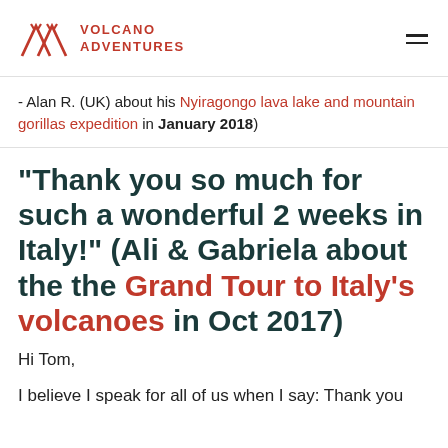[Figure (logo): Volcano Adventures logo with red mountain/volcano SVG icon and red uppercase text 'VOLCANO ADVENTURES' and hamburger menu icon]
- Alan R. (UK) about his Nyiragongo lava lake and mountain gorillas expedition in January 2018)
"Thank you so much for such a wonderful 2 weeks in Italy!" (Ali & Gabriela about the the Grand Tour to Italy's volcanoes in Oct 2017)
Hi Tom,
I believe I speak for all of us when I say: Thank you